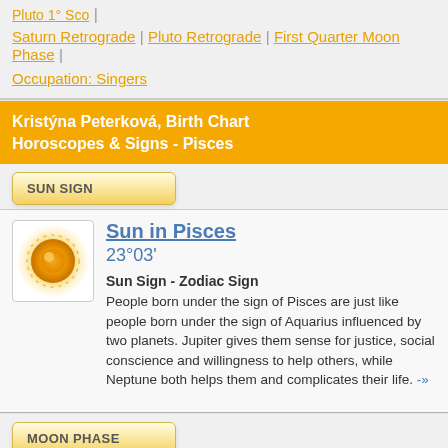Pluto 1° Sco |
Saturn Retrograde | Pluto Retrograde | First Quarter Moon Phase |
Occupation: Singers
Kristýna Peterková, Birth Chart Horoscopes & Signs - Pisces
SUN SIGN
Sun in Pisces
23°03'
Sun Sign - Zodiac Sign
People born under the sign of Pisces are just like people born under the sign of Aquarius influenced by two planets. Jupiter gives them sense for justice, social conscience and willingness to help others, while Neptune both helps them and complicates their life. -»
MOON PHASE